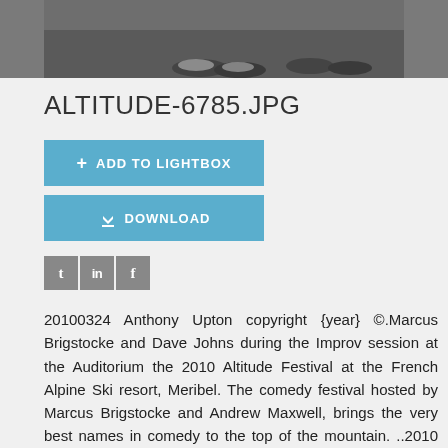[Figure (photo): Photograph showing feet/shoes of performers on a stage, dark grey background, cropped to bottom of frame]
ALTITUDE-6785.JPG
ADD TO LIGHTBOX
DOWNLOAD
[Figure (infographic): Social media icons: Twitter (t), LinkedIn (in), Facebook (f) in grey square buttons]
20100324 Anthony Upton copyright {year} ©.Marcus Brigstocke and Dave Johns during the Improv session at the Auditorium the 2010 Altitude Festival at the French Alpine Ski resort, Meribel. The comedy festival hosted by Marcus Brigstocke and Andrew Maxwell, brings the very best names in comedy to the top of the mountain. ..2010 Altitude Festival is in it's third successful year, mixing comedy and music for an international audience, taking 'Apres Ski' to a new level...Appearing later this week will be 'The Pub Landlord' Al Murray, Canadian Craig Campbell, Improve